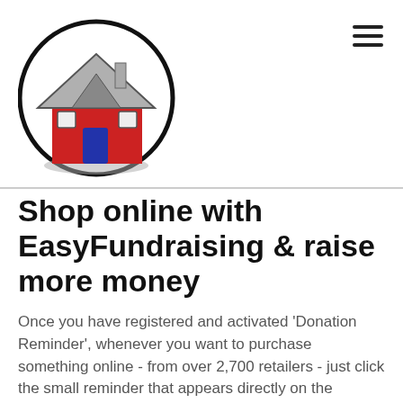[Figure (logo): EasyFundraising logo: a cartoon house with red walls, grey roof, and blue door inside a black circle]
Shop online with EasyFundraising & raise more money
Once you have registered and activated 'Donation Reminder', whenever you want to purchase something online - from over 2,700 retailers - just click the small reminder that appears directly on the retailer's website.
By clicking the reminder, you'll start collecting donations from the eligible purchases you go on to make....it really is that simple.